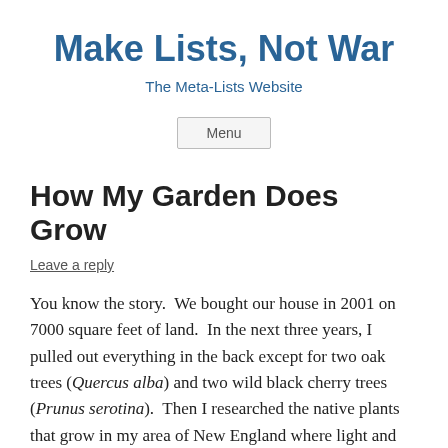Make Lists, Not War
The Meta-Lists Website
Menu
How My Garden Does Grow
Leave a reply
You know the story.  We bought our house in 2001 on 7000 square feet of land.  In the next three years, I pulled out everything in the back except for two oak trees (Quercus alba) and two wild black cherry trees (Prunus serotina).  Then I researched the native plants that grow in my area of New England where light and moisture conditions are similar to my backyard. Then I found places I could buy these plants or